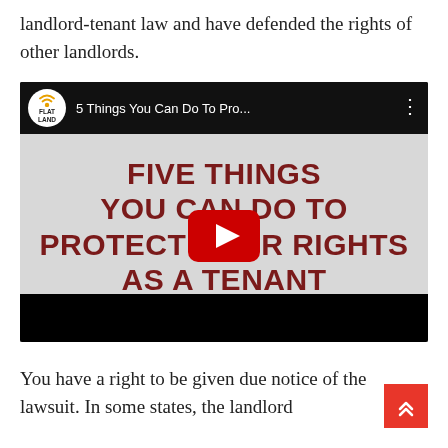landlord-tenant law and have defended the rights of other landlords.
[Figure (screenshot): YouTube video thumbnail showing a Flat Land channel video titled '5 Things You Can Do To Pro...' with text overlay reading 'FIVE THINGS YOU CAN DO TO PROTECT YOUR RIGHTS AS A TENANT' in bold dark red letters on a gray background, with a red YouTube play button in the center.]
You have a right to be given due notice of the lawsuit. In some states, the landlord